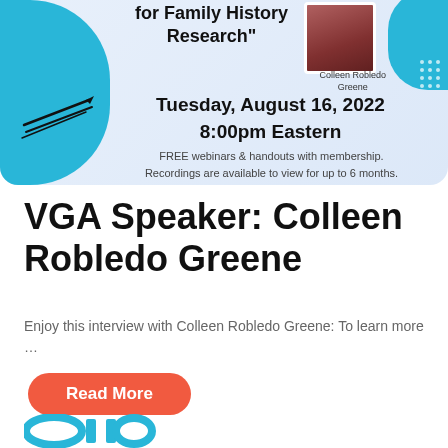[Figure (infographic): Event banner with light blue/white background and cyan decorative shapes, featuring a photo of Colleen Robledo Greene, a pen illustration, and text advertising a webinar on Tuesday, August 16, 2022 at 8:00pm Eastern. States FREE webinars and handouts with membership and recordings available for up to 6 months.]
VGA Speaker: Colleen Robledo Greene
Enjoy this interview with Colleen Robledo Greene: To learn more …
Read More
[Figure (logo): VGA logo partially visible at bottom of page, teal/cyan colored lettering]